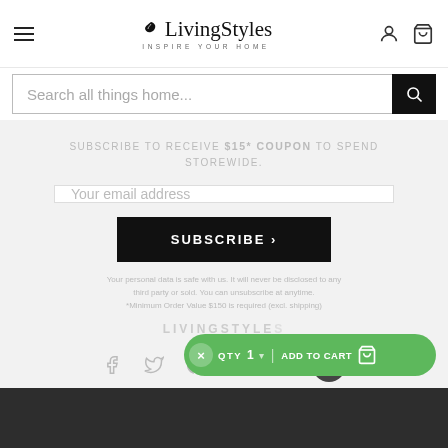LivingStyles - INSPIRE YOUR HOME
Search all things home...
SUBSCRIBE TO RECEIVE $15* COUPON TO SPEND STOREWIDE.
Your email address
SUBSCRIBE ›
Your personal data is safe with us. It will never be disclosed to any third party or sold. You can unsubscribe at anytime. *Minimum Order Value $150 is required (excl. shipping)
LIVINGSTYLES
× QTY 1 ▾ | ADD TO CART 🛒